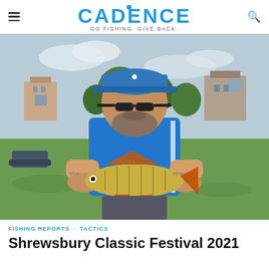CADENCE — GO FISHING. GIVE BACK.
[Figure (photo): Man in blue Cadence polo shirt and blue cap wearing sunglasses, holding a large perch fish with both hands, outdoors on grass with trees and buildings in background]
FISHING REPORTS · TACTICS
Shrewsbury Classic Festival 2021